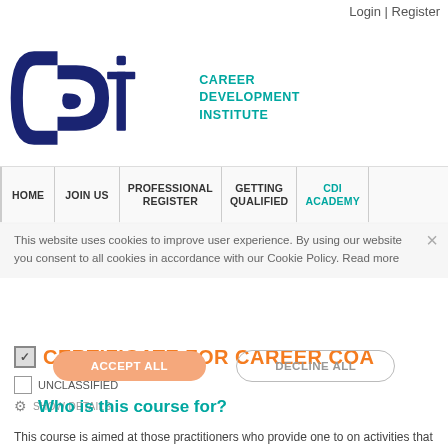Login | Register
[Figure (logo): Career Development Institute (CDI) logo: stylized CDI letters in dark navy blue with teal text 'CAREER DEVELOPMENT INSTITUTE']
HOME | JOIN US | PROFESSIONAL REGISTER | GETTING QUALIFIED | CDI ACADEMY
This website uses cookies to improve user experience. By using our website you consent to all cookies in accordance with our Cookie Policy. Read more
CERTIFICATE FOR CAREER COA...
UNCLASSIFIED
Who is this course for?
This course is aimed at those practitioners who provide one to one activities that lead to increased clarity, personal change and forwa... course, but rather, provides the career context for those already...